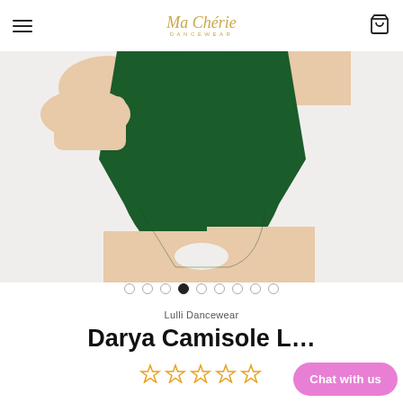Ma Cherie Dancewear
[Figure (photo): Torso and legs of a dancer wearing a dark green camisole leotard with skin-tone tights, cropped view showing midsection and upper thighs]
[Figure (other): Carousel dot indicators — 9 dots, 4th dot filled/active]
Lulli Dancewear
Darya Camisole L…
[Figure (other): Star rating: 1 star out of 5 (empty stars shown in gold outline)]
Chat with us